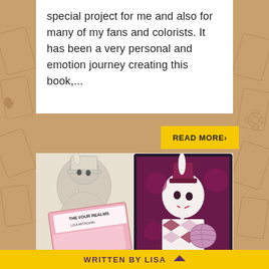special project for me and also for many of my fans and colorists. It has been a very personal and emotion journey creating this book,...
READ MORE›
[Figure (photo): Photo showing coloring book pages and the book cover of 'The Four Realms' by Lisa Mitrohin. The cover has a pink background with illustrated fantasy characters. Adjacent pages show detailed pencil/colored illustrations of fantastical rabbit-headed figures.]
WRITTEN BY LISA